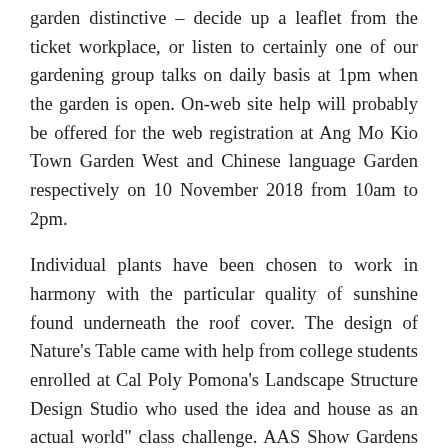garden distinctive – decide up a leaflet from the ticket workplace, or listen to certainly one of our gardening group talks on daily basis at 1pm when the garden is open. On-web site help will probably be offered for the web registration at Ang Mo Kio Town Garden West and Chinese language Garden respectively on 10 November 2018 from 10am to 2pm.
Individual plants have been chosen to work in harmony with the particular quality of sunshine found underneath the roof cover. The design of Nature's Table came with help from college students enrolled at Cal Poly Pomona's Landscape Structure Design Studio who used the idea and house as an actual world" class challenge. AAS Show Gardens present the general public with a possibility to view the latest AAS Winners in a gorgeous nicely-maintained setting.
Software for the allotment gardening plots might be accepted between 9 November 2018, 9am, and 12 November 2018, 6pm. Since 1992, the International Garden Competition has been a laboratory for contemporary garden and landscape design worldwide. A National Historic Landmark, in the present day, The Mount is a cultural center